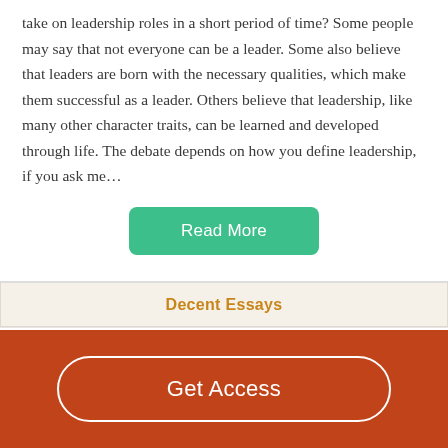take on leadership roles in a short period of time? Some people may say that not everyone can be a leader. Some also believe that leaders are born with the necessary qualities, which make them successful as a leader. Others believe that leadership, like many other character traits, can be learned and developed through life. The debate depends on how you define leadership, if you ask me…
Read More
Decent Essays
The Model Of Emergent Leadership
Get Access